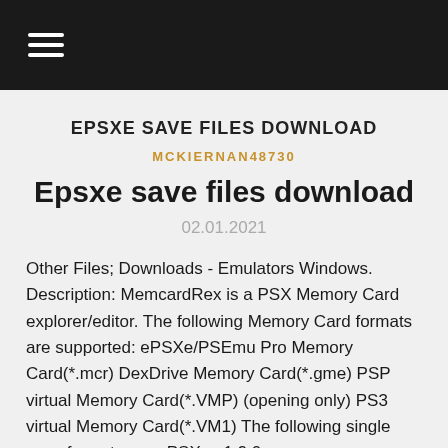☰
EPSXE SAVE FILES DOWNLOAD
MCKIERNAN48730
Epsxe save files download
02.01.2021
Other Files; Downloads - Emulators Windows. Description: MemcardRex is a PSX Memory Card explorer/editor. The following Memory Card formats are supported: ePSXe/PSEmu Pro Memory Card(*.mcr) DexDrive Memory Card(*.gme) PSP virtual Memory Card(*.VMP) (opening only) PS3 virtual Memory Card(*.VM1) The following single save formats are ePSXe v1.9.0